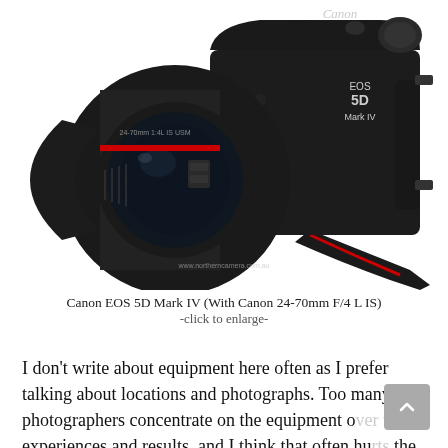[Figure (photo): Canon EOS 5D Mark IV camera body with Canon 24-70mm F/4 L IS lens attached, shown on white background with camera strap visible]
Canon EOS 5D Mark IV (With Canon 24-70mm F/4 L IS)
-click to enlarge-
I don't write about equipment here often as I prefer talking about locations and photographs. Too many photographers concentrate on the equipment over the experiences and results, and I think that often hurts the photography. I tend to only research and read (and